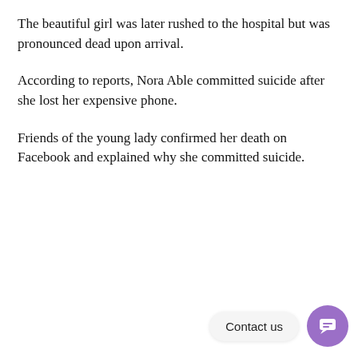The beautiful girl was later rushed to the hospital but was pronounced dead upon arrival.
According to reports, Nora Able committed suicide after she lost her expensive phone.
Friends of the young lady confirmed her death on Facebook and explained why she committed suicide.
[Figure (other): Contact us chat widget button with purple circular chat icon and 'Contact us' label]